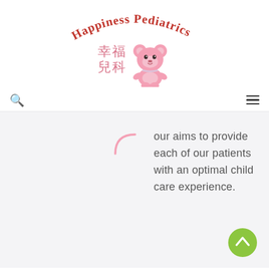[Figure (logo): Happiness Pediatrics logo with pink bear and Chinese characters 幸福兒科]
Our aims to provide each of our patients with an optimal child care experience.
[Figure (illustration): Scroll-to-top button (green circle with upward chevron arrow)]